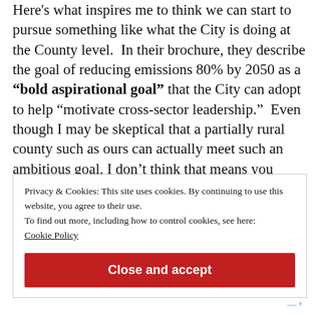Here's what inspires me to think we can start to pursue something like what the City is doing at the County level.  In their brochure, they describe the goal of reducing emissions 80% by 2050 as a “bold aspirational goal” that the City can adopt to help “motivate cross-sector leadership.”  Even though I may be skeptical that a partially rural county such as ours can actually meet such an ambitious goal, I don’t think that means you don’t set yourself the goal at all.
Privacy & Cookies: This site uses cookies. By continuing to use this website, you agree to their use.
To find out more, including how to control cookies, see here: Cookie Policy
Close and accept